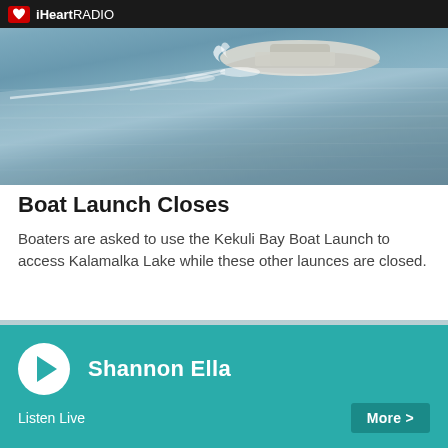iHeartRADIO
[Figure (photo): A motorboat speeding across a lake with water ripples and wake behind it]
Boat Launch Closes
Boaters are asked to use the Kekuli Bay Boat Launch to access Kalamalka Lake while these other launces are closed.
[Figure (photo): A road lined with trees showing autumn foliage, with a basketball hoop visible in the background]
Shannon Ella
Listen Live
More >